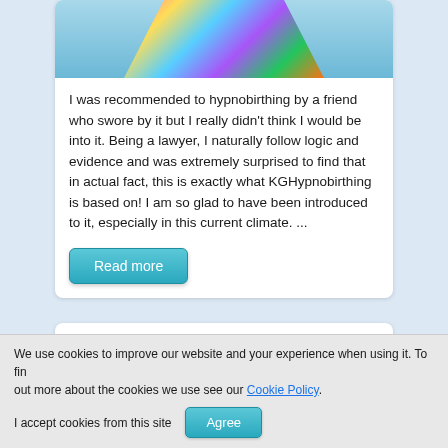[Figure (photo): Partial image of a person wearing a colorful patterned swimsuit, with blue water background visible]
I was recommended to hypnobirthing by a friend who swore by it but I really didn't think I would be into it. Being a lawyer, I naturally follow logic and evidence and was extremely surprised to find that in actual fact, this is exactly what KGHypnobirthing is based on! I am so glad to have been introduced to it, especially in this current climate. ...
Read more
We use cookies to improve our website and your experience when using it. To find out more about the cookies we use see our Cookie Policy.
I accept cookies from this site
Agree